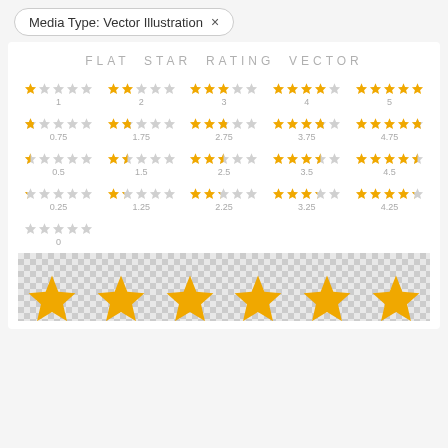Media Type: Vector Illustration ×
FLAT STAR RATING VECTOR
[Figure (illustration): Grid of star rating icons showing ratings from 0 to 5 in increments of 1 (row 1), 0.75 to 4.75 (row 2), 0.5 to 4.5 (row 3), 0.25 to 4.25 (row 4), and 0 (row 5). Gold and gray stars on white background. Below is a checkerboard transparency background with large gold star shapes visible at the bottom.]